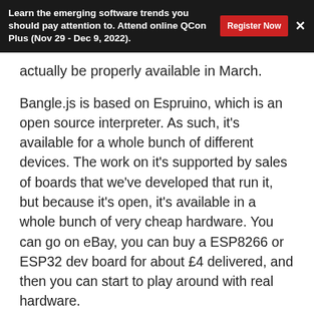Learn the emerging software trends you should pay attention to. Attend online QCon Plus (Nov 29 - Dec 9, 2022).
actually be properly available in March.
Bangle.js is based on Espruino, which is an open source interpreter. As such, it's available for a whole bunch of different devices. The work on it's supported by sales of boards that we've developed that run it, but because it's open, it's available in a whole bunch of very cheap hardware. You can go on eBay, you can buy a ESP8266 or ESP32 dev board for about £4 delivered, and then you can start to play around with real hardware.
Demo
Now we're communicating with our device completely wirelessly. There is a clock application or